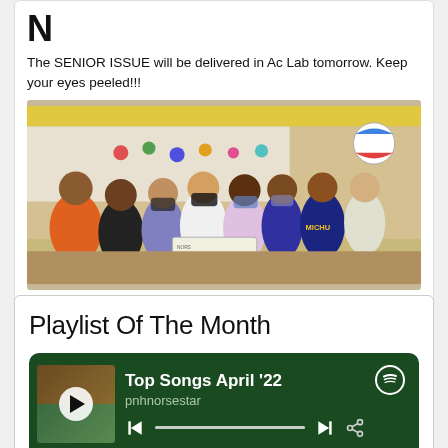The SENIOR ISSUE will be delivered in Ac Lab tomorrow. Keep your eyes peeled!!!
[Figure (photo): Group photo of students in a classroom, some wearing masks, gathered together looking at something, with colorful decorations in the background]
Playlist Of The Month
[Figure (screenshot): Spotify player widget showing 'Top Songs April '22' playlist by pnhnorsestar, with play button, progress bar, skip controls, and share icon. Track list shows: 1. Fast Car by Syd, 3:30]